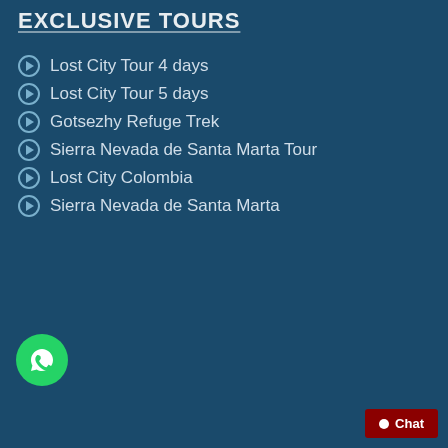EXCLUSIVE TOURS
Lost City Tour 4 days
Lost City Tour 5 days
Gotsezhy Refuge Trek
Sierra Nevada de Santa Marta Tour
Lost City Colombia
Sierra Nevada de Santa Marta
[Figure (screenshot): Tripadvisor widget showing 'Wiwa Tour - Ciudad Perdida Colombia' with rating dots, 241 opiniones, Clasificación en Tripadvisor N.º18 de 155 Actividades al aire libre en Santa Marta. Includes WhatsApp chat bubble with tooltip 'Do you want more information? Talk to us.' and a Chat button.]